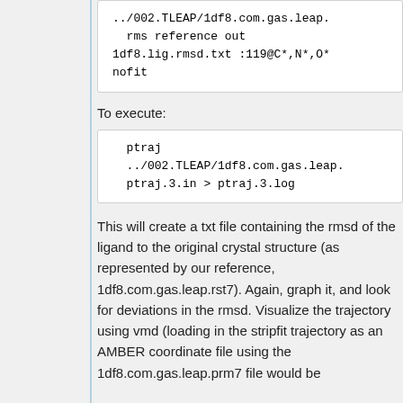../002.TLEAP/1df8.com.gas.leap.  rms reference out 1df8.lig.rmsd.txt :119@C*,N*,O*  nofit
To execute:
ptraj ../002.TLEAP/1df8.com.gas.leap. ptraj.3.in > ptraj.3.log
This will create a txt file containing the rmsd of the ligand to the original crystal structure (as represented by our reference, 1df8.com.gas.leap.rst7). Again, graph it, and look for deviations in the rmsd. Visualize the trajectory using vmd (loading in the stripfit trajectory as an AMBER coordinate file using the 1df8.com.gas.leap.prm7 file would be